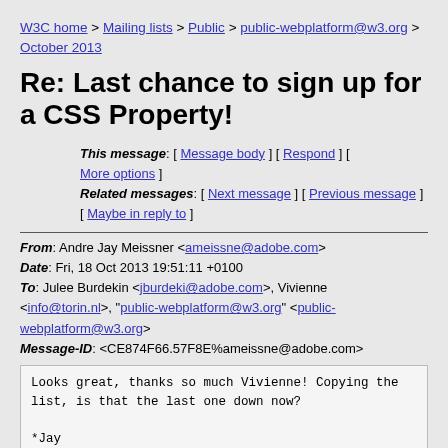W3C home > Mailing lists > Public > public-webplatform@w3.org > October 2013
Re: Last chance to sign up for a CSS Property!
This message: [ Message body ] [ Respond ] [ More options ]
Related messages: [ Next message ] [ Previous message ] [ Maybe in reply to ]
From: Andre Jay Meissner <ameissne@adobe.com>
Date: Fri, 18 Oct 2013 19:51:11 +0100
To: Julee Burdekin <jburdeki@adobe.com>, Vivienne <info@torin.nl>, "public-webplatform@w3.org" <public-webplatform@w3.org>
Message-ID: <CE874F66.57F8E%ameissne@adobe.com>
Looks great, thanks so much Vivienne! Copying the list, is that the last one down now?

*Jay